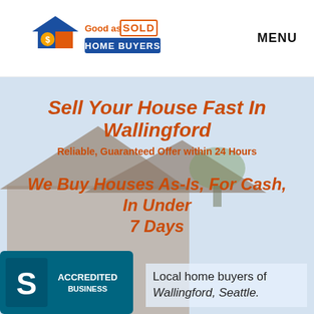[Figure (logo): Good as SOLD Home Buyers logo with house icon]
MENU
Sell Your House Fast In Wallingford
Reliable, Guaranteed Offer within 24 Hours
We Buy Houses As-Is, For Cash, In Under 7 Days
[Figure (photo): Background photo of house rooftop]
[Figure (logo): BBB Accredited Business badge]
Local home buyers of Wallingford, Seattle.